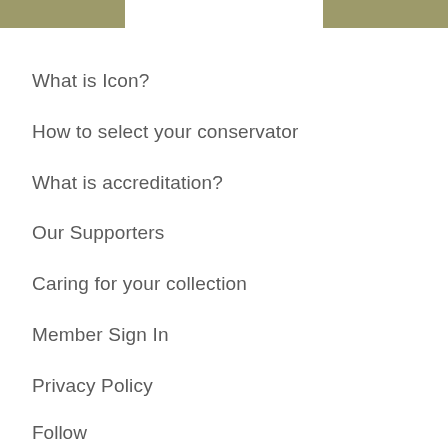What is Icon?
How to select your conservator
What is accreditation?
Our Supporters
Caring for your collection
Member Sign In
Privacy Policy
Follow